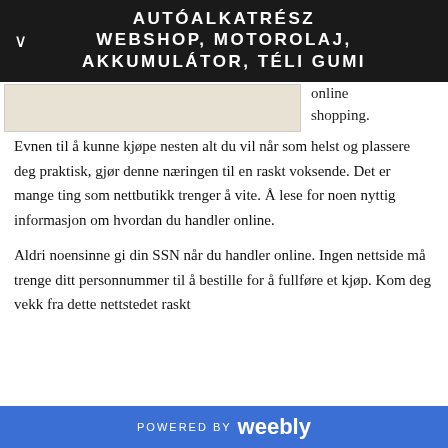AUTÓALKATRÉSZ WEBSHOP, MOTOROLAJ, AKKUMULÁTOR, TÉLI GUMI
[Figure (photo): Partial image visible on left side of page, light beige/cream colored background]
online shopping.
Evnen til å kunne kjøpe nesten alt du vil når som helst og plassere deg praktisk, gjør denne næringen til en raskt voksende. Det er mange ting som nettbutikk trenger å vite. Å lese for noen nyttig informasjon om hvordan du handler online.
Aldri noensinne gi din SSN når du handler online. Ingen nettside må trenge ditt personnummer til å bestille for å fullføre et kjøp. Kom deg vekk fra dette nettstedet raskt
POWERED BY weebly